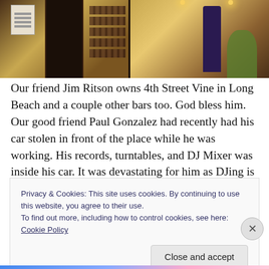[Figure (photo): Exterior photo of 4th Street Vine wine bar/shop in Long Beach. Shows a storefront with dark wooden door/gate, shelves of wine bottles visible inside, warm amber lighting, hanging pendant lights, a person standing in the background, and a large plant near the entrance.]
Our friend Jim Ritson owns 4th Street Vine in Long Beach and a couple other bars too. God bless him. Our good friend Paul Gonzalez had recently had his car stolen in front of the place while he was working. His records, turntables, and DJ Mixer was inside his car. It was devastating for him as DJing is his 2nd job and one of his
Privacy & Cookies: This site uses cookies. By continuing to use this website, you agree to their use.
To find out more, including how to control cookies, see here: Cookie Policy
Close and accept